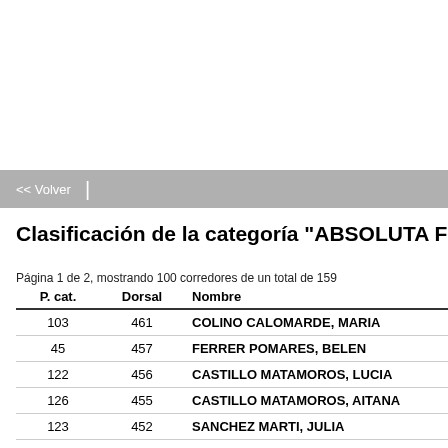<< Volver
Clasificación de la categoría "ABSOLUTA FEM...
Página 1 de 2, mostrando 100 corredores de un total de 159
| P. cat. | Dorsal | Nombre |
| --- | --- | --- |
| 103 | 461 | COLINO CALOMARDE, MARIA |
| 45 | 457 | FERRER POMARES, BELEN |
| 122 | 456 | CASTILLO MATAMOROS, LUCIA |
| 126 | 455 | CASTILLO MATAMOROS, AITANA |
| 123 | 452 | SANCHEZ MARTI, JULIA |
| 130 | 451 | SANCHEZ MARTI, SARA |
| 140 | 450 | MARTIN FERRER, MARIA LUISA |